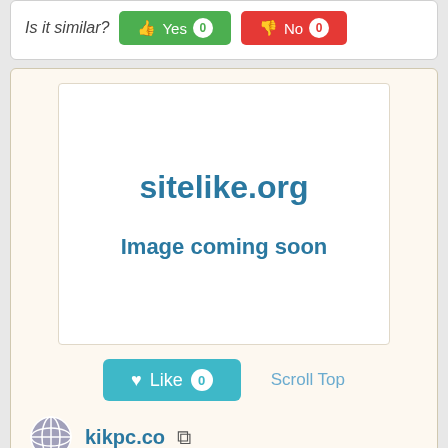Is it similar? Yes 0 No 0
[Figure (screenshot): sitelike.org website card showing 'Image coming soon' placeholder, with a Like button (count 0), Scroll Top link, globe icon with kikpc.co domain and external link icon, and bottom buttons for Facebook (heart: 0) and Website Worth: $100]
kikpc.co
Facebook ♡: 0
Website Worth: $ 100